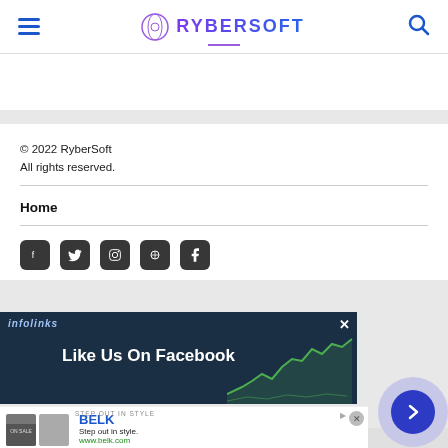RyberSoft
© 2022 RyberSoft
All rights reserved.
Home
[Figure (screenshot): Infolinks advertisement overlay with 'Like Us On Facebook' text on dark blue background with green line chart graphic and a close button]
[Figure (screenshot): BELK advertisement: 'Step out in style. www.belk.com' with product images]
[Figure (other): Navigation forward button circle (blue arrow on lavender circle)]